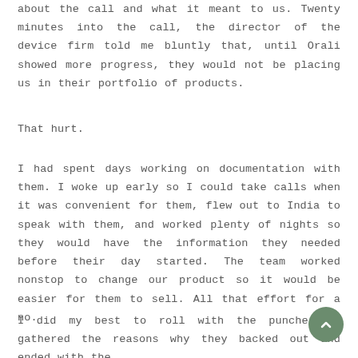about the call and what it meant to us. Twenty minutes into the call, the director of the device firm told me bluntly that, until Orali showed more progress, they would not be placing us in their portfolio of products.
That hurt.
I had spent days working on documentation with them. I woke up early so I could take calls when it was convenient for them, flew out to India to speak with them, and worked plenty of nights so they would have the information they needed before their day started. The team worked nonstop to change our product so it would be easier for them to sell. All that effort for a no.
I did my best to roll with the punches. I gathered the reasons why they backed out and ended with the